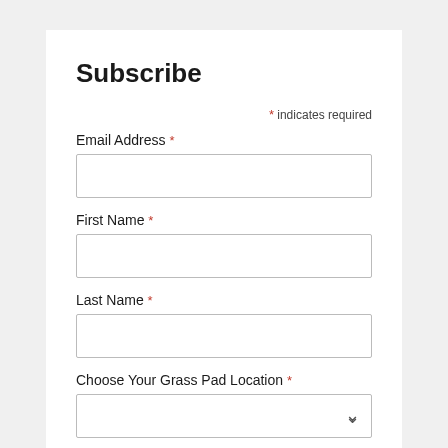Subscribe
* indicates required
Email Address *
First Name *
Last Name *
Choose Your Grass Pad Location *
Subscribe